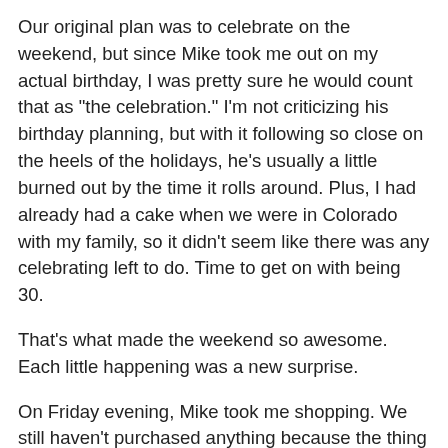Our original plan was to celebrate on the weekend, but since Mike took me out on my actual birthday, I was pretty sure he would count that as "the celebration." I'm not criticizing his birthday planning, but with it following so close on the heels of the holidays, he's usually a little burned out by the time it rolls around. Plus, I had already had a cake when we were in Colorado with my family, so it didn't seem like there was any celebrating left to do. Time to get on with being 30.
That's what made the weekend so awesome. Each little happening was a new surprise.
On Friday evening, Mike took me shopping. We still haven't purchased anything because the thing we went shopping for was . . . a bedroom set! The decision is proving to be a bit difficult. In all our years of marriage, our bedroom furniture has consisted of: a mattress on a bed frame (no headboard, etc.), a dresser purchased from the classifieds, a nightstand Mike made in high school, a three-drawer rubbermaid organizer, and a cedar hope chest Mike's parents gave me when I graduated from college. So it's going to be pretty incredible to have a bedroom that actually looks like it goes